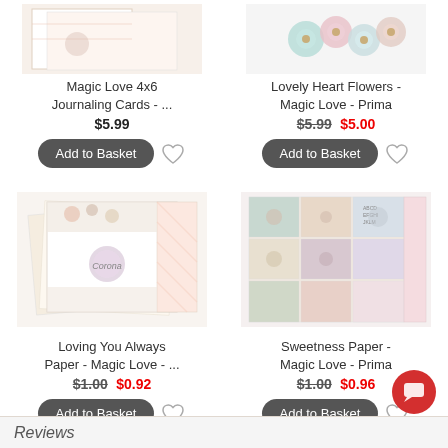[Figure (photo): Magic Love 4x6 Journaling Cards product - top left, cropped]
Magic Love 4x6 Journaling Cards - ...
$5.99
[Figure (photo): Lovely Heart Flowers - Magic Love - Prima product with pastel flowers]
Lovely Heart Flowers - Magic Love - Prima
$5.99  $5.00
[Figure (photo): Loving You Always Paper - Magic Love scrapbook paper product]
Loving You Always Paper - Magic Love - ...
$1.00  $0.92
[Figure (photo): Sweetness Paper - Magic Love - Prima scrapbook paper product]
Sweetness Paper - Magic Love - Prima
$1.00  $0.96
Reviews